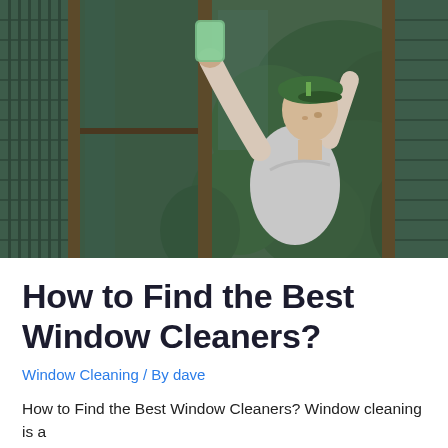[Figure (photo): A man wearing a green baseball cap and grey t-shirt cleaning the outside of large glass windows/doors on a house, reaching up with a green cleaning tool. Lush green plants and foliage visible in background, dark-framed windows prominent.]
How to Find the Best Window Cleaners?
Window Cleaning / By dave
How to Find the Best Window Cleaners? Window cleaning is a